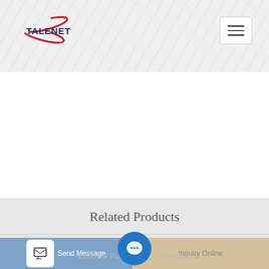[Figure (logo): TALENET company logo with red swoosh/arc shape and blue bold text]
Related Products
philippines concrete pump problems price
excellent concrete pump for sale in south africa
Send Message   Concrete Pumping Se... Greenford   Inquiry Online